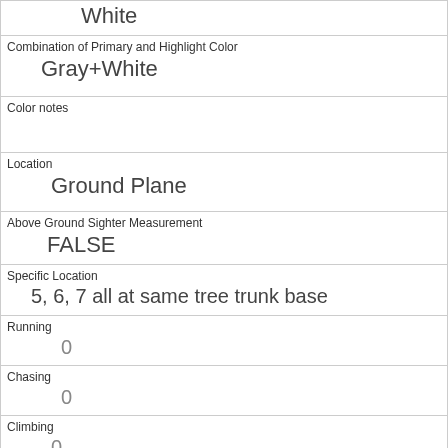| White |
| Combination of Primary and Highlight Color | Gray+White |
| Color notes |  |
| Location | Ground Plane |
| Above Ground Sighter Measurement | FALSE |
| Specific Location | 5, 6, 7 all at same tree trunk base |
| Running | 0 |
| Chasing | 0 |
| Climbing | 0 |
| Eating | 1 |
| Foraging | 1 |